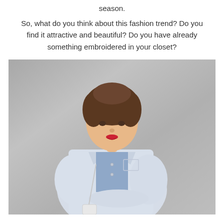season.
So, what do you think about this fashion trend? Do you find it attractive and beautiful? Do you have already something embroidered in your closet?
[Figure (photo): A woman with brown hair and red lipstick wearing a light denim jacket over a blue shirt, standing against a grey concrete wall, carrying a white chain-strap bag.]